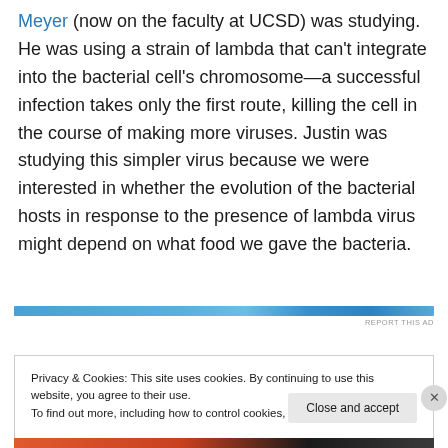Meyer (now on the faculty at UCSD) was studying. He was using a strain of lambda that can't integrate into the bacterial cell's chromosome—a successful infection takes only the first route, killing the cell in the course of making more viruses. Justin was studying this simpler virus because we were interested in whether the evolution of the bacterial hosts in response to the presence of lambda virus might depend on what food we gave the bacteria.
[Figure (other): Advertisement banner bar with blue gradient colors and 'REPORT THIS AD' text]
Privacy & Cookies: This site uses cookies. By continuing to use this website, you agree to their use. To find out more, including how to control cookies, see here: Cookie Policy